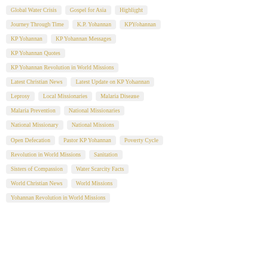Global Water Crisis
Gospel for Asia
Highlight
Journey Through Time
K.P. Yohannan
KPYohannan
KP Yohannan
KP Yohannan Messages
KP Yohannan Quotes
KP Yohannan Revolution in World Missions
Latest Christian News
Latest Update on KP Yohannan
Leprosy
Local Missionaries
Malaria Disease
Malaria Prevention
National Missionaries
National Missionary
National Missions
Open Defecation
Pastor KP Yohannan
Poverty Cycle
Revolution in World Missions
Sanitation
Sisters of Compassion
Water Scarcity Facts
World Christian News
World Missions
Yohannan Revolution in World Missions